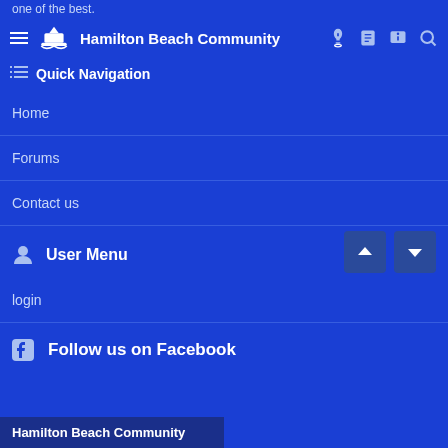one of the best.
Hamilton Beach Community
Quick Navigation
Home
Forums
Contact us
User Menu
login
Follow us on Facebook
Hamilton Beach Community